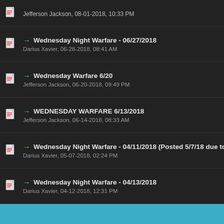Wednesday Night Warfare - 06/27/2018, Darius Xavier, 06-28-2018, 08:41 AM
Wednesday Warfare 6/20, Jefferson Jackson, 06-20-2018, 09:49 PM
WEDNESDAY WARFARE 6/13/2018, Jefferson Jackson, 06-14-2018, 08:33 AM
Wednesday Night Warfare - 04/11/2018 (Posted 5/7/18 due to si..., Darius Xavier, 05-07-2018, 02:24 PM
Wednesday Night Warfare - 04/13/2018, Darius Xavier, 04-12-2018, 12:31 PM
Pages (4): 1 2 3 4 Next »
New Posts | No New Posts | Hot Thread (New) | Contains Posts by You | Hot Thread (No New)